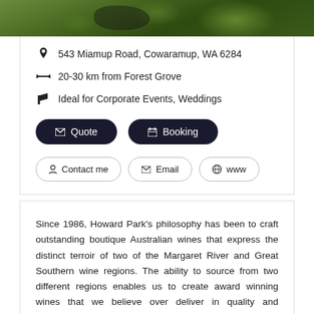[Figure (photo): Top portion of a vineyard photo showing green grapes and foliage]
543 Miamup Road, Cowaramup, WA 6284
20-30 km from Forest Grove
Ideal for Corporate Events, Weddings
Quote button and Booking button
Contact me, Email, www buttons
Since 1986, Howard Park's philosophy has been to craft outstanding boutique Australian wines that express the distinct terroir of two of the Margaret River and Great Southern wine regions. The ability to source from two different regions enables us to create award winning wines that we believe over deliver in quality and excellence. Each of our wine ranges tell their own story with a distinctive focus. Explore and shop the complete Howard Park Wines collection by visiting our website. Read more